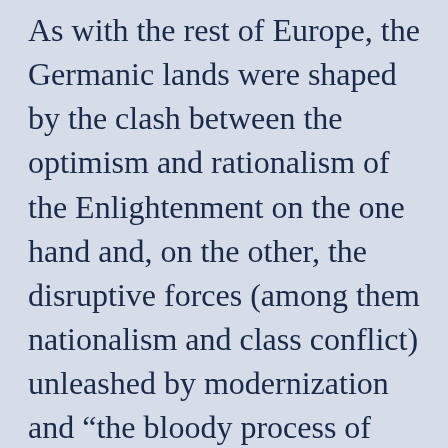As with the rest of Europe, the Germanic lands were shaped by the clash between the optimism and rationalism of the Enlightenment on the one hand and, on the other, the disruptive forces (among them nationalism and class conflict) unleashed by modernization and “the bloody process of state formation and great power politics.” Given these